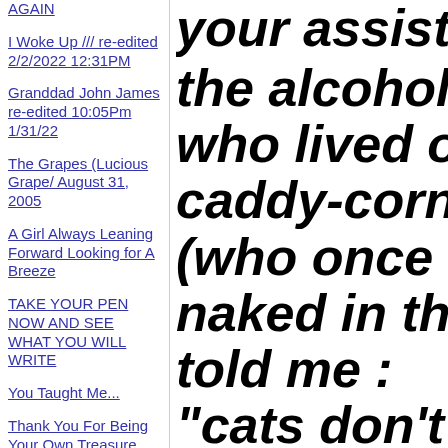AGAIN
I Woke Up /// re-edited 2/2/2022 12:31PM
Granddad John James re-edited 10:05Pm 1/31/22
The Grapes (Lucious Grape/ August 31, 2005
A Girl Always Leaning Forward Looking for A Breeze
TAKE YOUR PEN NOW AND SEE WHAT YOU WILL WRITE
You Taught Me...
Thank You For Being Your Own Treasure
your assistance the alcoholic neighbor who lived on 2nd floor caddy-corner from our (who once no holds-barred naked in the hallway, told me : "cats don't understand no the contents of pe "but, they understand abundantly,